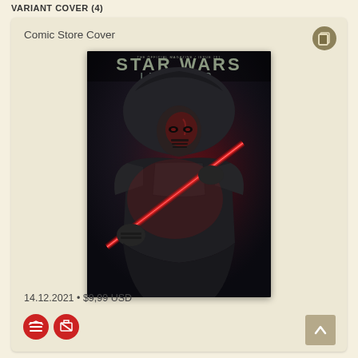VARIANT COVER (4)
Comic Store Cover
[Figure (photo): Star Wars Insider magazine cover featuring a dark Sith warrior in a hood holding a red lightsaber, from the Official Magazine Issue 201]
14.12.2021 • $9,99 USD
[Figure (logo): Two circular icons: a red circle with a stack/layers icon, and a red circle with a diagonal slash/prohibited icon]